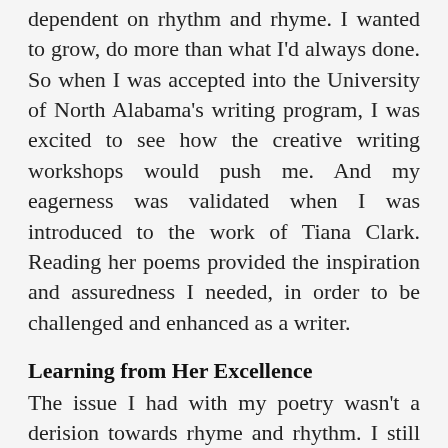dependent on rhythm and rhyme. I wanted to grow, do more than what I'd always done. So when I was accepted into the University of North Alabama's writing program, I was excited to see how the creative writing workshops would push me. And my eagerness was validated when I was introduced to the work of Tiana Clark. Reading her poems provided the inspiration and assuredness I needed, in order to be challenged and enhanced as a writer.
Learning from Her Excellence
The issue I had with my poetry wasn't a derision towards rhyme and rhythm. I still love and respect